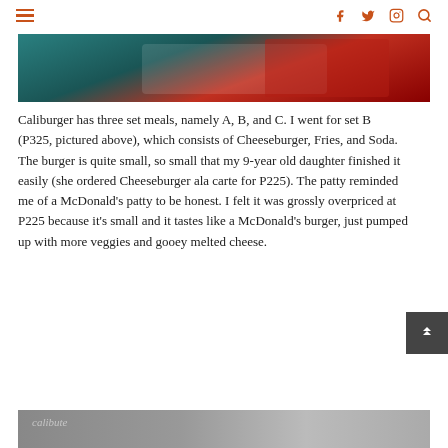≡  [social icons: facebook, twitter, instagram, search]
[Figure (photo): Top portion of a food photo showing what appears to be a burger meal with red packaging on a teal/dark background]
Caliburger has three set meals, namely A, B, and C. I went for set B (P325, pictured above), which consists of Cheeseburger, Fries, and Soda. The burger is quite small, so small that my 9-year old daughter finished it easily (she ordered Cheeseburger ala carte for P225). The patty reminded me of a McDonald's patty to be honest. I felt it was grossly overpriced at P225 because it's small and it tastes like a McDonald's burger, just pumped up with more veggies and gooey melted cheese.
[Figure (photo): Bottom partial photo, text partially visible at bottom of page]